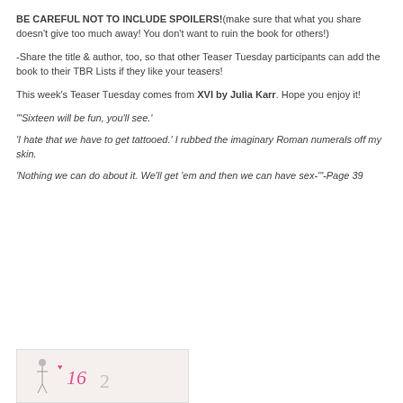BE CAREFUL NOT TO INCLUDE SPOILERS!(make sure that what you share doesn't give too much away! You don't want to ruin the book for others!)
-Share the title & author, too, so that other Teaser Tuesday participants can add the book to their TBR Lists if they like your teasers!
This week's Teaser Tuesday comes from XVI by Julia Karr. Hope you enjoy it!
'"Sixteen will be fun, you'll see.'
'I hate that we have to get tattooed.' I rubbed the imaginary Roman numerals off my skin.
'Nothing we can do about it. We'll get 'em and then we can have sex-'"-Page 39
[Figure (illustration): Partial view of a book cover or illustration showing small decorative figures and numbers, pink accents on a light background]